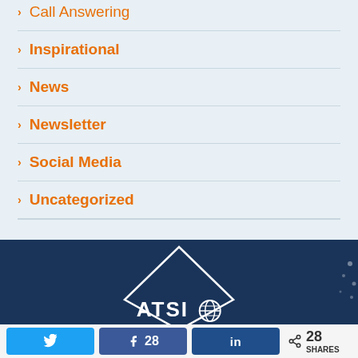> Call Answering
> Inspirational
> News
> Newsletter
> Social Media
> Uncategorized
[Figure (logo): ATSI logo with diamond/house outline shape on dark navy background]
[Figure (infographic): Share bar with Twitter, Facebook (28), LinkedIn buttons and 28 SHARES count]